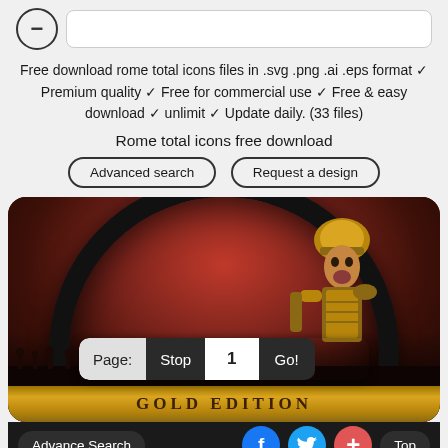Free download rome total icons files in .svg .png .ai .eps format ✓ Premium quality ✓ Free for commercial use ✓ Free & easy download ✓ unlimit ✓ Update daily. (33 files)
Rome total icons free download
Advanced search | Request a design
[Figure (illustration): Rome Total War Gold Edition game icon showing a circular black-framed disc with a Roman warrior soldier figure against a red/orange fiery battle background with army silhouettes, with gold banner text 'GOLD EDITION' at the bottom]
Page: Stop 1 Go!
Advance Search | Top